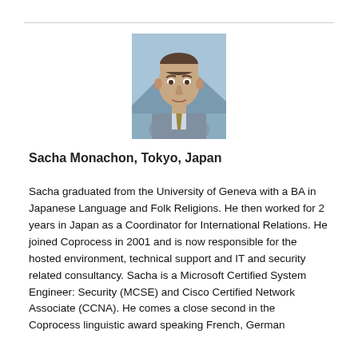[Figure (photo): Professional headshot of Sacha Monachon, a middle-aged man in a grey suit with a patterned tie, with mountains and a cityscape in the background.]
Sacha Monachon, Tokyo, Japan
Sacha graduated from the University of Geneva with a BA in Japanese Language and Folk Religions. He then worked for 2 years in Japan as a Coordinator for International Relations. He joined Coprocess in 2001 and is now responsible for the hosted environment, technical support and IT and security related consultancy. Sacha is a Microsoft Certified System Engineer: Security (MCSE) and Cisco Certified Network Associate (CCNA). He comes a close second in the Coprocess linguistic award speaking French, German